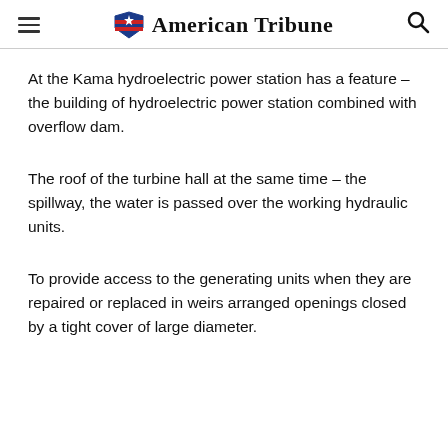American Tribune
At the Kama hydroelectric power station has a feature – the building of hydroelectric power station combined with overflow dam.
The roof of the turbine hall at the same time – the spillway, the water is passed over the working hydraulic units.
To provide access to the generating units when they are repaired or replaced in weirs arranged openings closed by a tight cover of large diameter.